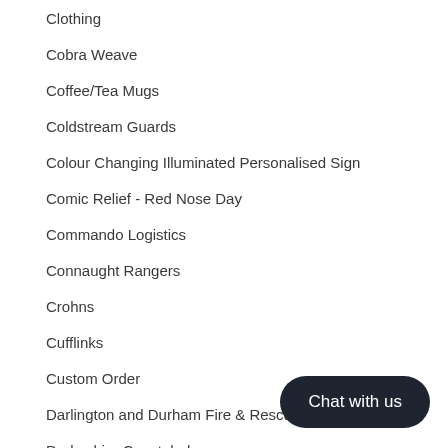Clothing
Cobra Weave
Coffee/Tea Mugs
Coldstream Guards
Colour Changing Illuminated Personalised Sign
Comic Relief - Red Nose Day
Commando Logistics
Connaught Rangers
Crohns
Cufflinks
Custom Order
Darlington and Durham Fire & Rescue Service
Derbyshire Constabulary
Derbyshire Fire and Rescue
Desert Rats